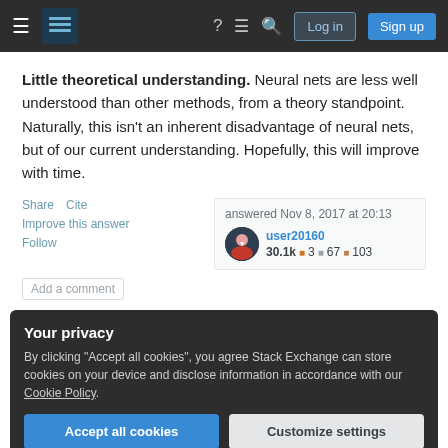Stack Exchange navigation bar with Log in and Sign up buttons
Little theoretical understanding. Neural nets are less well understood than other methods, from a theory standpoint. Naturally, this isn't an inherent disadvantage of neural nets, but of our current understanding. Hopefully, this will improve with time.
Share  Cite  answered Nov 8, 2017 at 20:13  user20160  30.1k 3 67 103  Improve this answer  Follow  Add a comment
Your privacy
By clicking "Accept all cookies", you agree Stack Exchange can store cookies on your device and disclose information in accordance with our Cookie Policy.